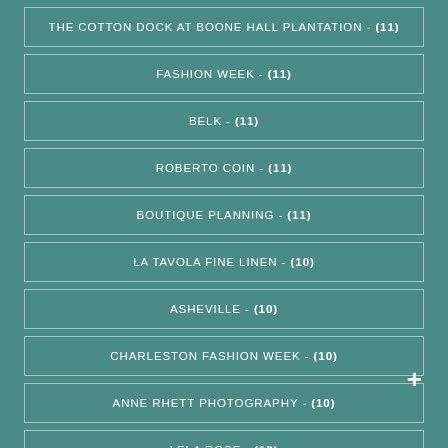THE COTTON DOCK AT BOONE HALL PLANTATION - (11)
FASHION WEEK - (11)
BELK - (11)
ROBERTO COIN - (11)
BOUTIQUE PLANNING - (11)
LA TAVOLA FINE LINEN - (10)
ASHEVILLE - (10)
CHARLESTON FASHION WEEK - (10)
ANNE RHETT PHOTOGRAPHY - (10)
LELA ROSE - (10)